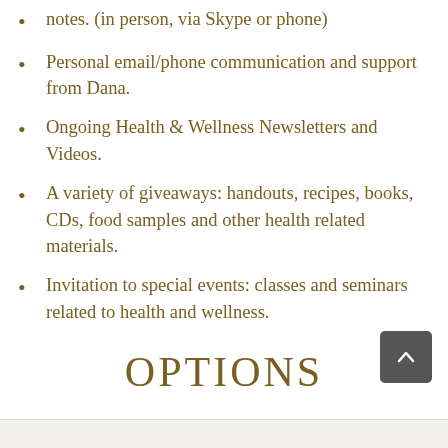notes. (in person, via Skype or phone)
Personal email/phone communication and support from Dana.
Ongoing Health & Wellness Newsletters and Videos.
A variety of giveaways: handouts, recipes, books, CDs, food samples and other health related materials.
Invitation to special events: classes and seminars related to health and wellness.
OPTIONS